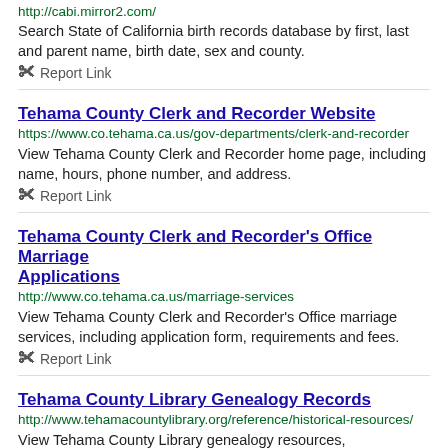http://cabi.mirror2.com/
Search State of California birth records database by first, last and parent name, birth date, sex and county.
Report Link
Tehama County Clerk and Recorder Website
https://www.co.tehama.ca.us/gov-departments/clerk-and-recorder
View Tehama County Clerk and Recorder home page, including name, hours, phone number, and address.
Report Link
Tehama County Clerk and Recorder's Office Marriage Applications
http://www.co.tehama.ca.us/marriage-services
View Tehama County Clerk and Recorder's Office marriage services, including application form, requirements and fees.
Report Link
Tehama County Library Genealogy Records
http://www.tehamacountylibrary.org/reference/historical-resources/
View Tehama County Library genealogy resources,